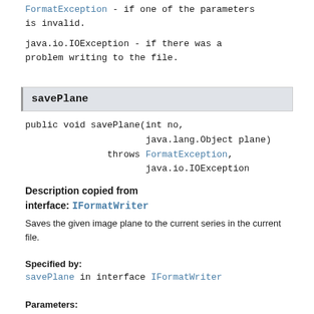FormatException - if one of the parameters is invalid.
java.io.IOException - if there was a problem writing to the file.
savePlane
public void savePlane(int no,
                      java.lang.Object plane)
               throws FormatException,
                      java.io.IOException
Description copied from interface: IFormatWriter
Saves the given image plane to the current series in the current file.
Specified by:
savePlane in interface IFormatWriter
Parameters:
no - the image index within the current file, starting from 0.